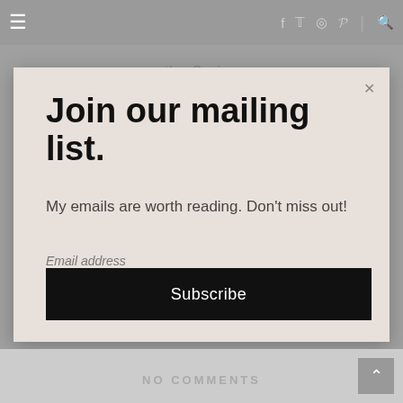≡   f  t  ✿  P  |  🔍
the Spring
Join our mailing list.
My emails are worth reading. Don't miss out!
Email address
Subscribe
NO COMMENTS